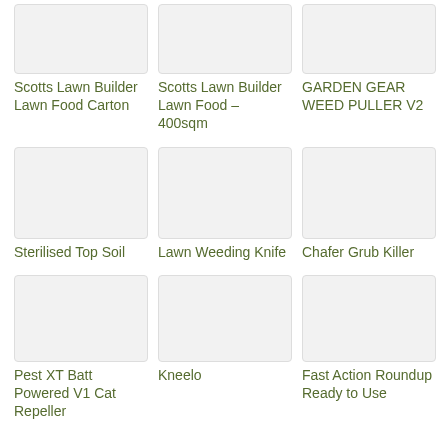[Figure (other): Product image placeholder for Scotts Lawn Builder Lawn Food Carton]
Scotts Lawn Builder Lawn Food Carton
[Figure (other): Product image placeholder for Scotts Lawn Builder Lawn Food – 400sqm]
Scotts Lawn Builder Lawn Food – 400sqm
[Figure (other): Product image placeholder for GARDEN GEAR WEED PULLER V2]
GARDEN GEAR WEED PULLER V2
[Figure (other): Product image placeholder for Sterilised Top Soil]
Sterilised Top Soil
[Figure (other): Product image placeholder for Lawn Weeding Knife]
Lawn Weeding Knife
[Figure (other): Product image placeholder for Chafer Grub Killer]
Chafer Grub Killer
[Figure (other): Product image placeholder for Pest XT Batt Powered V1 Cat Repeller]
Pest XT Batt Powered V1 Cat Repeller
[Figure (other): Product image placeholder for Kneelo]
Kneelo
[Figure (other): Product image placeholder for Fast Action Roundup Ready to Use]
Fast Action Roundup Ready to Use